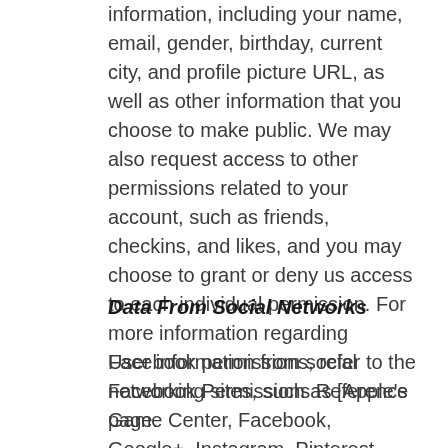information, including your name, email, gender, birthday, current city, and profile picture URL, as well as other information that you choose to make public. We may also request access to other permissions related to your account, such as friends, checkins, and likes, and you may choose to grant or deny us access to each individual permission. For more information regarding Facebook permissions, refer to the Facebook Permissions Reference page.
Data From Social Networks
User information from social networking sites, such as [Apple's Game Center, Facebook, Google+, Instagram, Pinterest, Twitter],